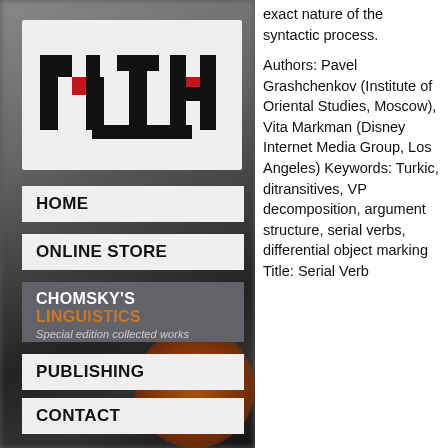[Figure (logo): MITM or similar stylized logo with black and red geometric letterforms on light background]
HOME
ONLINE STORE
CHOMSKY'S LINGUISTICS
Special edition collected works
PUBLISHING
CONTACT
exact nature of the syntactic process.

Authors: Pavel Grashchenkov (Institute of Oriental Studies, Moscow), Vita Markman (Disney Internet Media Group, Los Angeles) Keywords: Turkic, ditransitives, VP decomposition, argument structure, serial verbs, differential object marking Title: Serial Verb